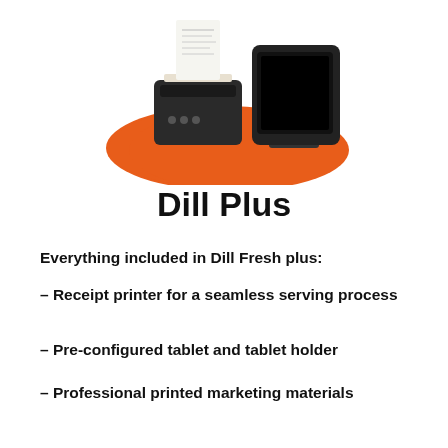[Figure (illustration): A receipt printer and a tablet/POS screen arranged together on an orange blob shape background]
Dill Plus
Everything included in Dill Fresh plus:
– Receipt printer for a seamless serving process
– Pre-configured tablet and tablet holder
– Professional printed marketing materials